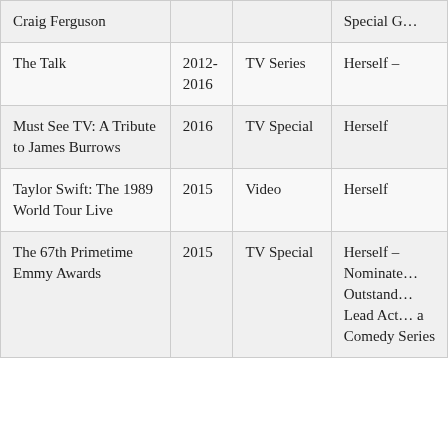| Title | Year | Type | Role/Notes |
| --- | --- | --- | --- |
| Craig Ferguson |  |  | Special G… |
| The Talk | 2012-2016 | TV Series | Herself – |
| Must See TV: A Tribute to James Burrows | 2016 | TV Special | Herself |
| Taylor Swift: The 1989 World Tour Live | 2015 | Video | Herself |
| The 67th Primetime Emmy Awards | 2015 | TV Special | Herself – Nominated Outstanding Lead Act… a Comedy Series |